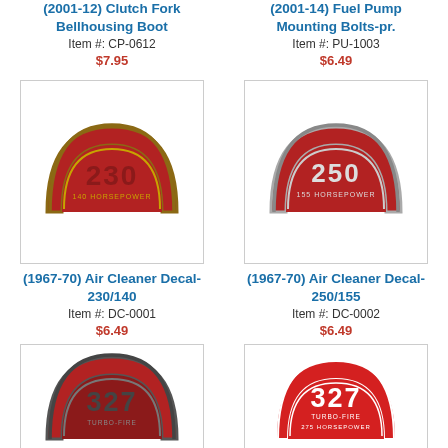(2001-12) Clutch Fork Bellhousing Boot
Item #: CP-0612
$7.95
(2001-14) Fuel Pump Mounting Bolts-pr.
Item #: PU-1003
$6.49
[Figure (photo): Red arc-shaped air cleaner decal with '230' and text, gold/dark border]
(1967-70) Air Cleaner Decal-230/140
Item #: DC-0001
$6.49
[Figure (photo): Red arc-shaped air cleaner decal with '250' and '155 Horsepower' text, chrome border]
(1967-70) Air Cleaner Decal-250/155
Item #: DC-0002
$6.49
[Figure (photo): Red arc-shaped air cleaner decal with '327' and text, dark border]
[Figure (photo): Red arc-shaped air cleaner decal with '327 Turbo-Fire 275 Horsepower' text]